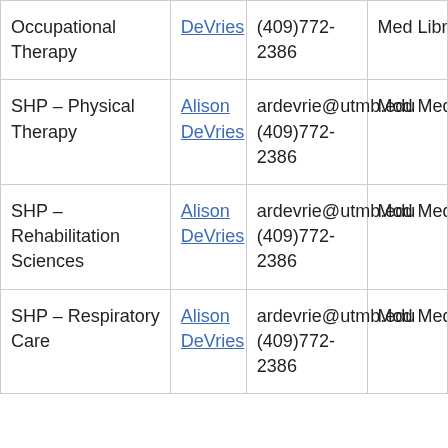| Subject | Librarian | Contact | Location |
| --- | --- | --- | --- |
| Occupational Therapy | DeVries | (409)772-2386 | Med Libr 2nd 241 |
| SHP – Physical Therapy | Alison DeVries | ardevrie@utmb.edu (409)772-2386 | Mod Med Libr 2nd 241 |
| SHP – Rehabilitation Sciences | Alison DeVries | ardevrie@utmb.edu (409)772-2386 | Mod Med Libr 2nd 241 |
| SHP – Respiratory Care | Alison DeVries | ardevrie@utmb.edu (409)772-2386 | Mod Med Libr |